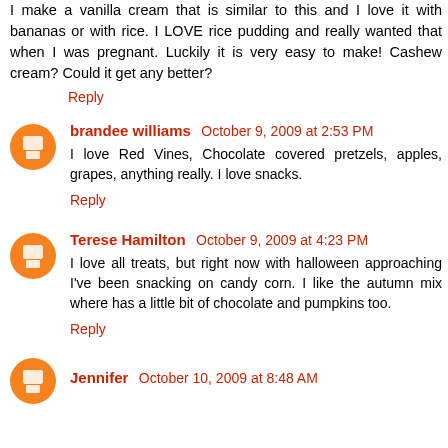I make a vanilla cream that is similar to this and I love it with bananas or with rice. I LOVE rice pudding and really wanted that when I was pregnant. Luckily it is very easy to make! Cashew cream? Could it get any better?
Reply
brandee williams October 9, 2009 at 2:53 PM
I love Red Vines, Chocolate covered pretzels, apples, grapes, anything really. I love snacks.
Reply
Terese Hamilton October 9, 2009 at 4:23 PM
I love all treats, but right now with halloween approaching I've been snacking on candy corn. I like the autumn mix where has a little bit of chocolate and pumpkins too.
Reply
Jennifer October 10, 2009 at 8:48 AM